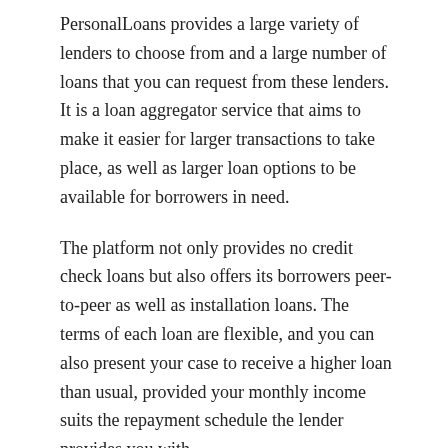PersonalLoans provides a large variety of lenders to choose from and a large number of loans that you can request from these lenders. It is a loan aggregator service that aims to make it easier for larger transactions to take place, as well as larger loan options to be available for borrowers in need.
The platform not only provides no credit check loans but also offers its borrowers peer-to-peer as well as installation loans. The terms of each loan are flexible, and you can also present your case to receive a higher loan than usual, provided your monthly income suits the repayment schedule the lender provides you with.
You can receive loans from PersonalLoans.com between $500 and $35000, while the interest rate can range from 5.99% to 35.99%. Depending on the loan you take, you are given the option to either pay it back within 90 days or 72 months, which is extremely beneficial as it allows you the time to pay the money back with ease.